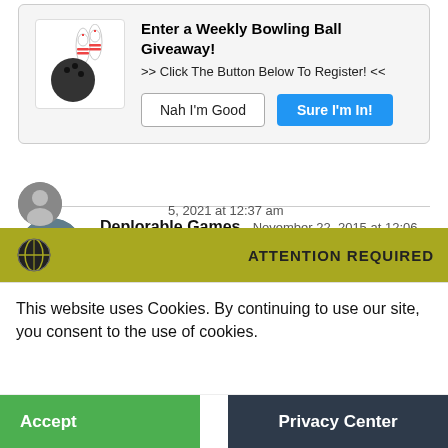[Figure (other): Giveaway popup box with bowling ball and pins icon, title 'Enter a Weekly Bowling Ball Giveaway!', subtitle '>> Click The Button Below To Register! <<', and two buttons: 'Nah I'm Good' and 'Sure I'm In!']
Deplorable Games  November 22, 2015 at 12:06 am
And here I am, with my 207 average, thinking I'm badass on league night
5, 2021 at 12:37 am
[Figure (screenshot): Cookie consent banner with yellow 'ATTENTION REQUIRED' bar showing a globe icon, white box with text 'This website uses Cookies. By continuing to use our site, you consent to the use of cookies.', and two buttons: 'Accept' (green) and 'Privacy Center' (dark navy)]